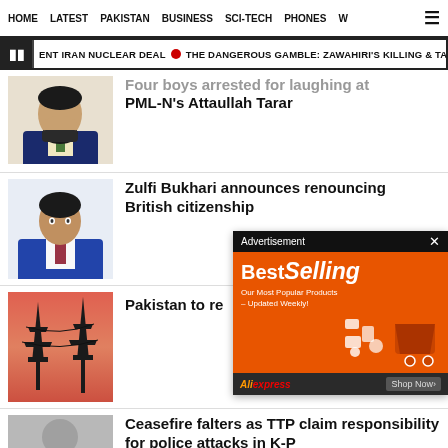HOME  LATEST  PAKISTAN  BUSINESS  SCI-TECH  PHONES  W
ENT IRAN NUCLEAR DEAL  •  THE DANGEROUS GAMBLE: ZAWAHIRI'S KILLING & TALIBE
Four boys arrested for laughing at PML-N's Attaullah Tarar
Zulfi Bukhari announces renouncing British citizenship
Pakistan to re
[Figure (other): Advertisement banner - BestSelling - Our Most Popular Products - Updated Weekly! AliExpress Shop Now]
Ceasefire falters as TTP claim responsibility for police attacks in K-P